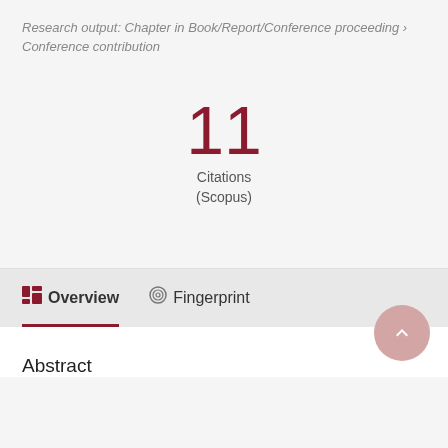Research output: Chapter in Book/Report/Conference proceeding › Conference contribution
11
Citations
(Scopus)
Overview  Fingerprint
Abstract